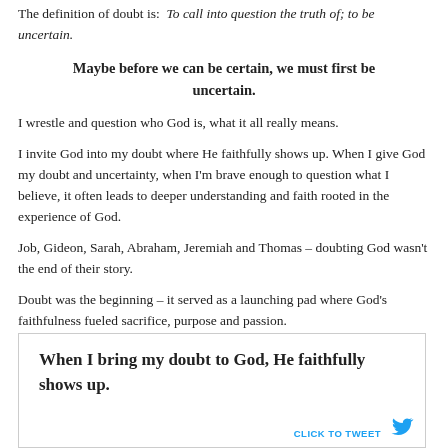The definition of doubt is: To call into question the truth of; to be uncertain.
Maybe before we can be certain, we must first be uncertain.
I wrestle and question who God is, what it all really means.
I invite God into my doubt where He faithfully shows up. When I give God my doubt and uncertainty, when I'm brave enough to question what I believe, it often leads to deeper understanding and faith rooted in the experience of God.
Job, Gideon, Sarah, Abraham, Jeremiah and Thomas – doubting God wasn't the end of their story.
Doubt was the beginning – it served as a launching pad where God's faithfulness fueled sacrifice, purpose and passion.
When I bring my doubt to God, He faithfully shows up.